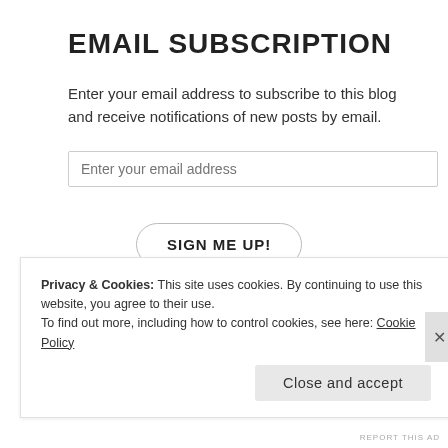EMAIL SUBSCRIPTION
Enter your email address to subscribe to this blog and receive notifications of new posts by email.
Join 418 other followers
BLOGROLL
Privacy & Cookies: This site uses cookies. By continuing to use this website, you agree to their use.
To find out more, including how to control cookies, see here: Cookie Policy
Close and accept